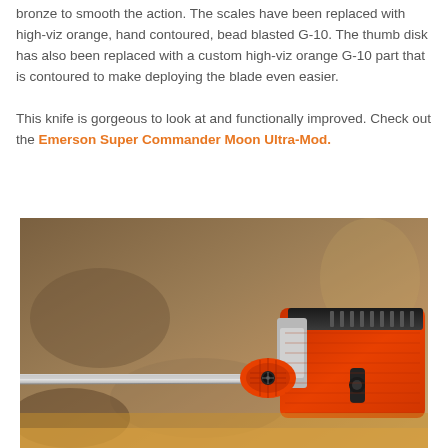bronze to smooth the action. The scales have been replaced with high-viz orange, hand contoured, bead blasted G-10. The thumb disk has also been replaced with a custom high-viz orange G-10 part that is contoured to make deploying the blade even easier.

This knife is gorgeous to look at and functionally improved. Check out the Emerson Super Commander Moon Ultra-Mod.
[Figure (photo): Close-up photo of a folding knife with high-viz orange G-10 scales and a custom orange thumb disk, lying on a surface. The blade is partially visible extending to the left, and the orange handle with black spine detail is prominent.]